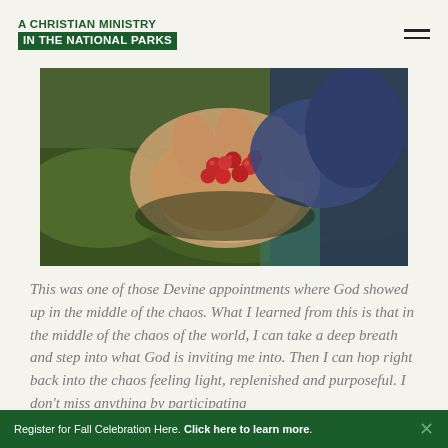A CHRISTIAN MINISTRY IN THE NATIONAL PARKS
[Figure (photo): Close-up photo of hands holding red berries (cranberries or similar wild berries) in an outdoor national park setting with green and brown vegetation background]
This was one of those Devine appointments where God showed up in the middle of the chaos. What I learned from this is that in the middle of the chaos of the world, I can take a deep breath and step into what God is inviting me into. Then I can hop right back into the chaos feeling light, replenished and purposeful. I don't miss anything by participating
Register for Fall Celebration Here. Click here to learn more. ×